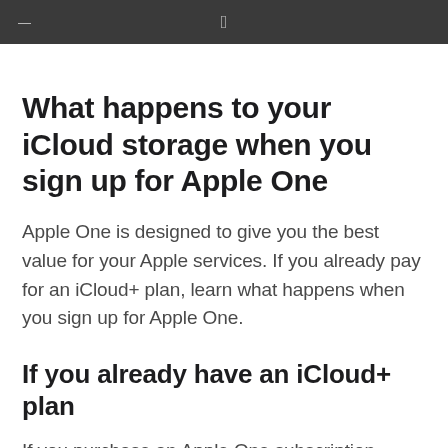≡  Apple logo
What happens to your iCloud storage when you sign up for Apple One
Apple One is designed to give you the best value for your Apple services. If you already pay for an iCloud+ plan, learn what happens when you sign up for Apple One.
If you already have an iCloud+ plan
If you purchase an Apple One subscription, either for yourself or for your Family Sharing group, learn what